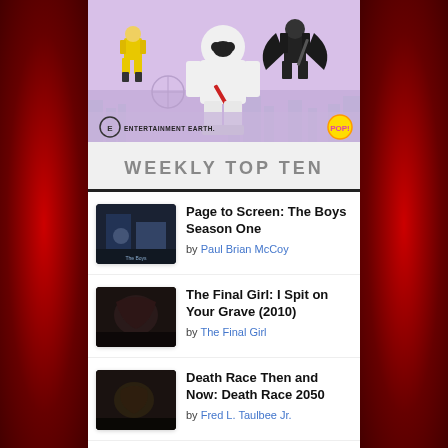[Figure (photo): Advertisement banner for Entertainment Earth featuring Funko Pop figures including a white ninja/storm shadow figure with red sword, yellow armored figure, and black winged figure on a purple/lavender background]
WEEKLY TOP TEN
Page to Screen: The Boys Season One by Paul Brian McCoy
The Final Girl: I Spit on Your Grave (2010) by The Final Girl
Death Race Then and Now: Death Race 2050 by Fred L. Taulbee Jr.